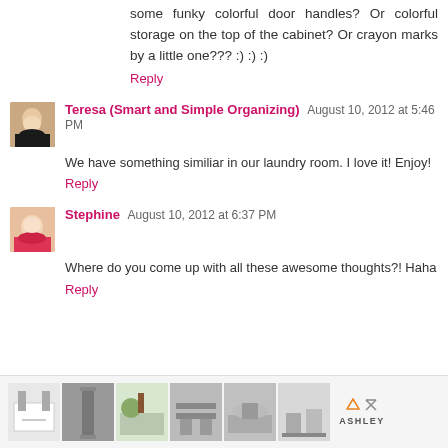some funky colorful door handles? Or colorful storage on the top of the cabinet? Or crayon marks by a little one??? :) :) :)
Reply
Teresa (Smart and Simple Organizing) August 10, 2012 at 5:46 PM
We have something similiar in our laundry room. I love it! Enjoy!
Reply
Stephine August 10, 2012 at 6:37 PM
Where do you come up with all these awesome thoughts?! Haha
Reply
[Figure (other): Advertisement banner with thumbnail images of furniture/home decor and Ashley Furniture logo]